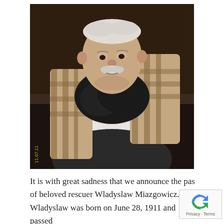[Figure (photo): An elderly man with white hair and a white mustache, wearing a white sweater, black scarf, and a brown/tan plaid blanket or wrap over his shoulders, seated indoors. A date stamp '11.07.11' is visible in the lower left corner of the photograph.]
It is with great sadness that we announce the pas[sing] of beloved rescuer Wladyslaw Miazgowicz. Wladyslaw was born on June 28, 1911 and passed